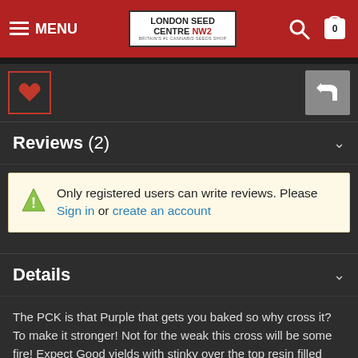MENU | London Seed Centre NW2 | Search | Cart (0)
Reviews (2)
Only registered users can write reviews. Please Sign in or create an account
Details
The PCK is that Purple that gets you baked so why cross it? To make it stronger! Not for the weak this cross will be some fire! Expect Good yields with stinky over the top resin filled flowers. The PCK is a complex hybrid that can be tweaked and fine tuned to be a experts favorite